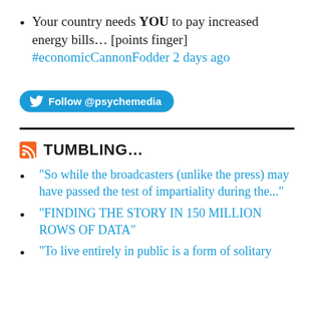Your country needs YOU to pay increased energy bills… [points finger] #economicCannonFodder 2 days ago
[Figure (other): Twitter Follow button: Follow @psychemedia]
TUMBLING…
"So while the broadcasters (unlike the press) may have passed the test of impartiality during the..."
"FINDING THE STORY IN 150 MILLION ROWS OF DATA"
"To live entirely in public is a form of solitary